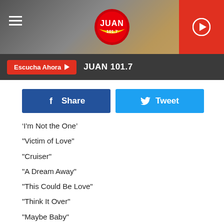[Figure (screenshot): JUAN 101.7 radio station website header with logo, hamburger menu, and play button]
JUAN 101.7
[Figure (infographic): Facebook Share button and Twitter Tweet button row]
I'm Not the One
"Victim of Love"
"Cruiser"
"A Dream Away"
"This Could Be Love"
"Think It Over"
"Maybe Baby"
"Since You're Gone" (Early Version)
"Shake It Up" (Demo)
"I'm Not the One" (Remix)
"Cruiser" (Early Version)